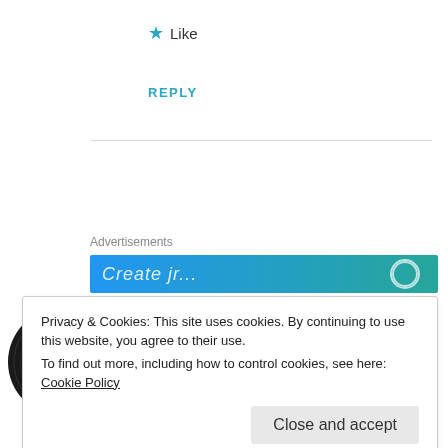★ Like
REPLY
Advertisements
[Figure (illustration): Blue-teal gradient advertisement banner with partial white italic text and a circular icon on the right]
[Figure (logo): Vinyl record logo with orange label reading 'In Our Day']
Anne Garage
SEPTEMBER 8, 2016 AT 8:30 AM
Privacy & Cookies: This site uses cookies. By continuing to use this website, you agree to their use.
To find out more, including how to control cookies, see here: Cookie Policy
Close and accept
second one! My main barrier is to convince